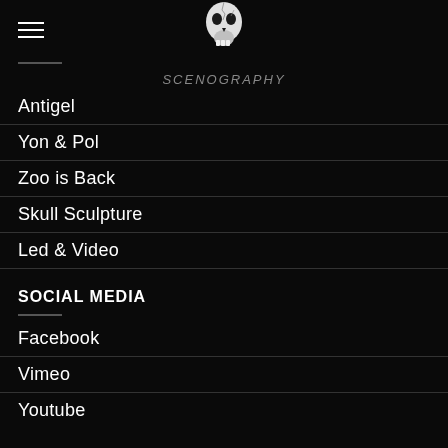Navigation header with skull logo and hamburger menu
SCENOGRAPHY
Antigel
Yon & Pol
Zoo is Back
Skull Sculpture
Led & Video
SOCIAL MEDIA
Facebook
Vimeo
Youtube